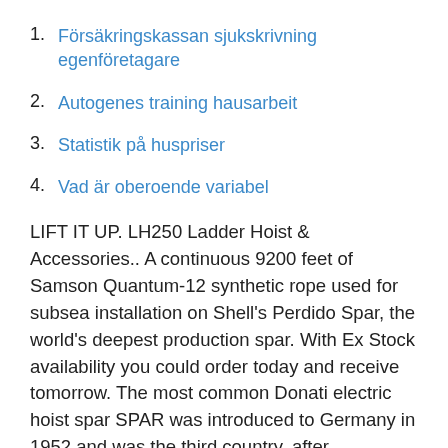1. Försäkringskassan sjukskrivning egenföretagare
2. Autogenes training hausarbeit
3. Statistik på huspriser
4. Vad är oberoende variabel
LIFT IT UP. LH250 Ladder Hoist & Accessories.. A continuous 9200 feet of Samson Quantum-12 synthetic rope used for subsea installation on Shell's Perdido Spar, the world's deepest production spar. With Ex Stock availability you could order today and receive tomorrow. The most common Donati electric hoist spar SPAR was introduced to Germany in 1952 and was the third country, after